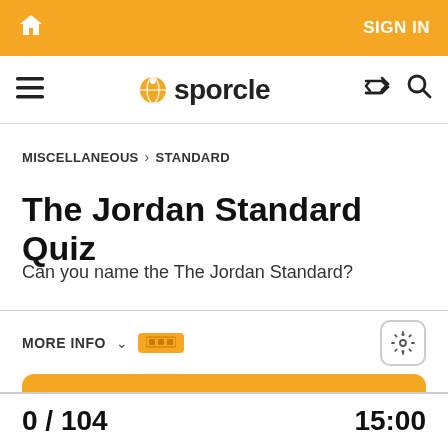SIGN IN
sporcle
MISCELLANEOUS > STANDARD
The Jordan Standard Quiz
Can you name the The Jordan Standard?
MORE INFO
PLAY QUIZ
0 / 104
15:00